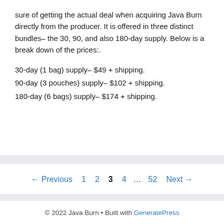sure of getting the actual deal when acquiring Java Burn directly from the producer. It is offered in three distinct bundles– the 30, 90, and also 180-day supply. Below is a break down of the prices:.
30-day (1 bag) supply– $49 + shipping.
90-day (3 pouches) supply– $102 + shipping.
180-day (6 bags) supply– $174 + shipping.
← Previous  1  2  3  4  …  52  Next →
© 2022 Java Burn • Built with GeneratePress